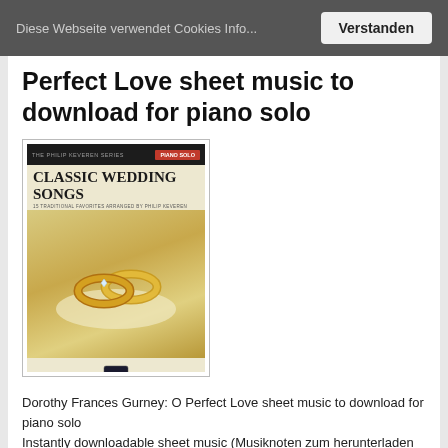Diese Webseite verwendet Cookies Info...   Verstanden
Perfect Love sheet music to download for piano solo
[Figure (illustration): Book cover: Classic Wedding Songs, The Philip Keveren Series Piano Solo, Hal Leonard publisher, with photo of two gold wedding rings on a cushion]
Dorothy Frances Gurney: O Perfect Love sheet music to download for piano solo
Instantly downloadable sheet music (Musiknoten zum herunterladen und ausdrucken) von Dorothy Frances Gurney for piano solo (MEDIUM difficulty level)